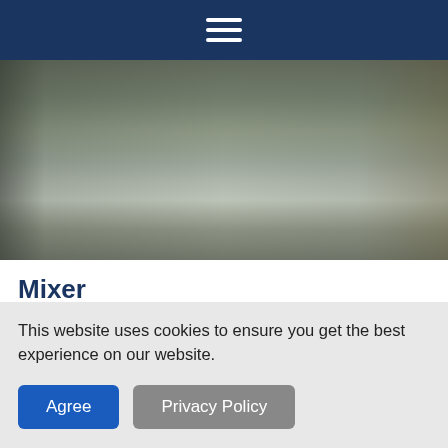[Figure (photo): Navy blue header bar with hamburger menu icon (three horizontal white lines) centered]
[Figure (photo): Industrial kitchen/factory setting showing a large stainless steel ribbon blender/mixer machine]
Mixer
Item #8437 – MIXER Ribbon Blender/Mixer Manufactured by THURINGIA FOOD TECH Model Number VM1000-FU 1000 Litres capacity. stainless steel it has had upgraded HMI
This website uses cookies to ensure you get the best experience on our website.
Agree
Privacy Policy